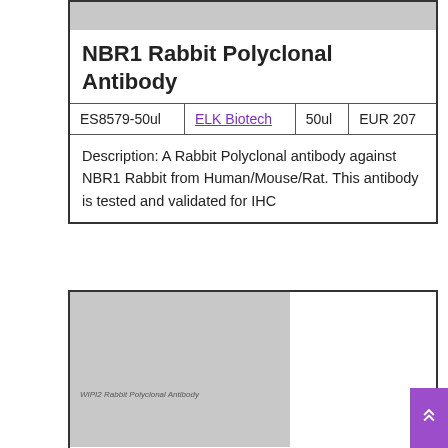NBR1 Rabbit Polyclonal Antibody
| ES8579-50ul | ELK Biotech | 50ul | EUR 207 |
| --- | --- | --- | --- |
Description: A Rabbit Polyclonal antibody against NBR1 Rabbit from Human/Mouse/Rat. This antibody is tested and validated for IHC
[Figure (photo): Gray placeholder image for WIPI2 Rabbit Polyclonal Antibody product]
WIPI2 Rabbit Polyclonal